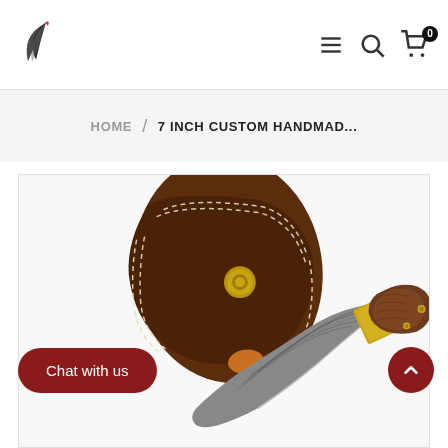Navigation header with logo and icons (hamburger menu, search, cart with 0 items)
HOME / 7 INCH CUSTOM HANDMAD...
[Figure (photo): Product photo showing a custom handmade Damascus steel folding knife with a wooden handle and brass bolster, alongside a dark brown leather sheath with white stitching and a brass snap button closure, displayed on a white background.]
Chat with us